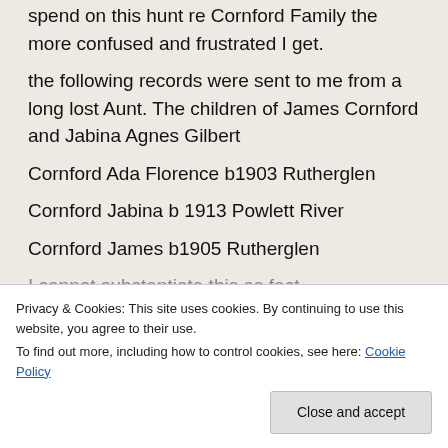…the more I spend on this hunt re Cornford Family the more confused and frustrated I get. the following records were sent to me from a long lost Aunt. The children of James Cornford and Jabina Agnes Gilbert Cornford Ada Florence b1903 Rutherglen Cornford Jabina b 1913 Powlett River Cornford James b1905 Rutherglen I cannot substantiate this as fact
Privacy & Cookies: This site uses cookies. By continuing to use this website, you agree to their use. To find out more, including how to control cookies, see here: Cookie Policy